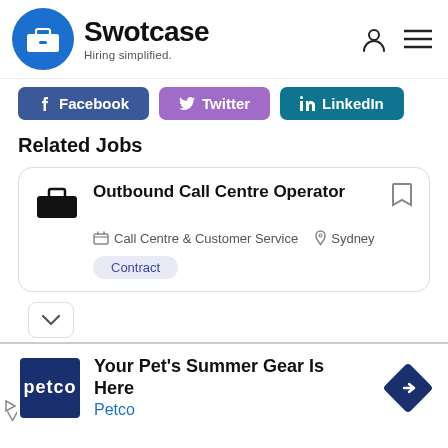[Figure (logo): Swotcase logo: blue circle with briefcase icon, text 'Swotcase' and tagline 'Hiring simplified.']
Related Jobs
[Figure (infographic): Social share buttons: Facebook, Twitter, LinkedIn]
Outbound Call Centre Operator | Call Centre & Customer Service | Sydney | Contract
[Figure (logo): Petco advertisement: Your Pet's Summer Gear Is Here - Petco]